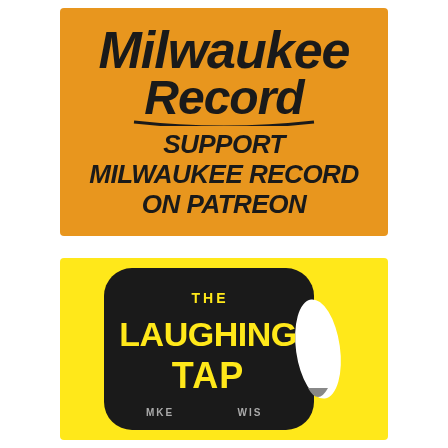[Figure (logo): Milwaukee Record Patreon advertisement. Orange background with Milwaukee Record script logo at top and bold italic text reading SUPPORT MILWAUKEE RECORD ON PATREON]
[Figure (logo): The Laughing Tap logo advertisement. Yellow background with a black rounded rectangle shape containing The Laughing Tap text in yellow and white, with an exclamation-point quill icon. MKE WIS text at bottom.]